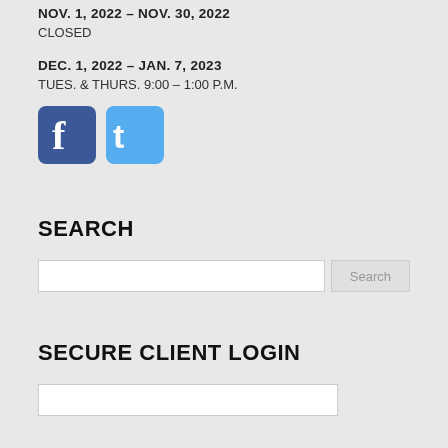NOV. 1, 2022 – NOV. 30, 2022
CLOSED
DEC. 1, 2022 – JAN. 7, 2023
TUES. & THURS. 9:00 – 1:00 P.M.
[Figure (logo): Facebook and Twitter social media icons]
SEARCH
Search input box with Search button
SECURE CLIENT LOGIN
Login input box